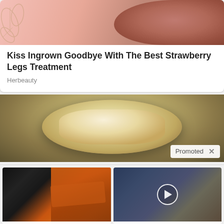[Figure (photo): Close-up photo of skin with strawberry legs / ingrown hairs, pink background with leaf decoration]
Kiss Ingrown Goodbye With The Best Strawberry Legs Treatment
Herbeauty
[Figure (photo): Photo of dough or bread in a blue dutch oven pot, with a Promoted badge and X close button]
[Figure (photo): Two-panel image: left shows muscular person and spice on spoon, right shows politicians at press conference with video play button overlay]
A Teaspoon On An Empty Stomach Burns Fat Like Crazy!
166,929
Every Believer Should Watch This (It Will Blow Your Mind)
386,229